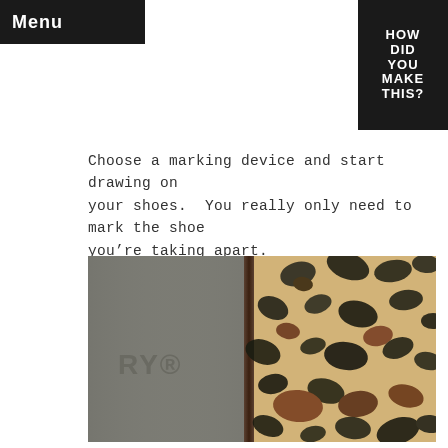Menu
Choose a marking device and start drawing on your shoes.  You really only need to mark the shoe you’re taking apart.
[Figure (photo): Close-up photograph showing two shoes side by side: left shoe has a grey rubber sole with embossed text 'RY®', right shoe has a leopard-print fabric upper with tan background and dark brown/black spots.]